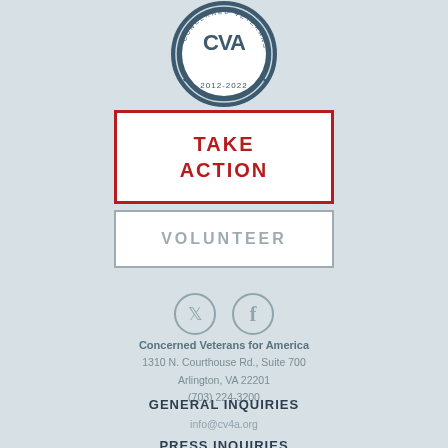[Figure (logo): Concerned Veterans for America circular seal logo with 'CVA' letters and '2012-2022' text, dark blue and white]
TAKE ACTION
VOLUNTEER
[Figure (illustration): Twitter and Facebook social media icon circles in gray]
Concerned Veterans for America
1310 N. Courthouse Rd., Suite 700
Arlington, VA 22201
(703) 224-3200
GENERAL INQUIRIES
info@cv4a.org
PRESS INQUIRIES